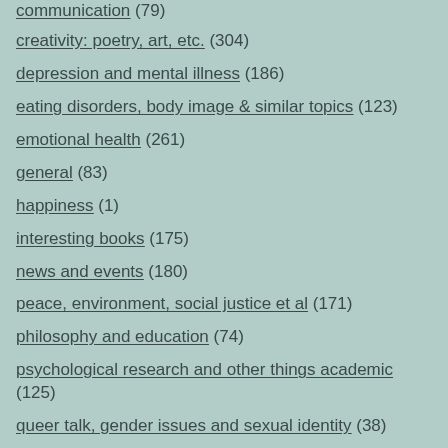communication (79)
creativity: poetry, art, etc. (304)
depression and mental illness (186)
eating disorders, body image & similar topics (123)
emotional health (261)
general (83)
happiness (1)
interesting books (175)
news and events (180)
peace, environment, social justice et al (171)
philosophy and education (74)
psychological research and other things academic (125)
queer talk, gender issues and sexual identity (38)